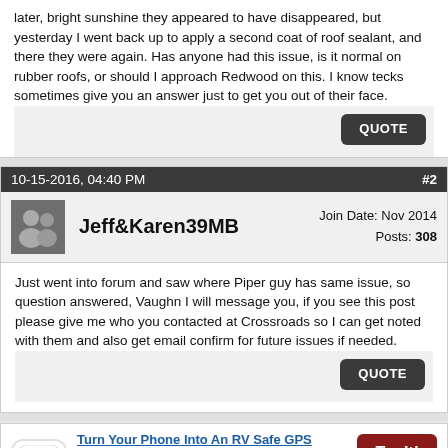later, bright sunshine they appeared to have disappeared, but yesterday I went back up to apply a second coat of roof sealant, and there they were again. Has anyone had this issue, is it normal on rubber roofs, or should I approach Redwood on this. I know tecks sometimes give you an answer just to get you out of their face.
QUOTE
10-15-2016, 04:40 PM
#2
Jeff&Karen39MB
Join Date: Nov 2014
Posts: 308
Just went into forum and saw where Piper guy has same issue, so question answered, Vaughn I will message you, if you see this post please give me who you contacted at Crossroads so I can get noted with them and also get email confirm for future issues if needed.
QUOTE
[Figure (infographic): RV LIFE Pro GPS advertisement with red icon showing navigation symbol, title 'Turn Your Phone Into An RV Safe GPS', description text, and a dark red 'Try It!' button with 'Partner' label]